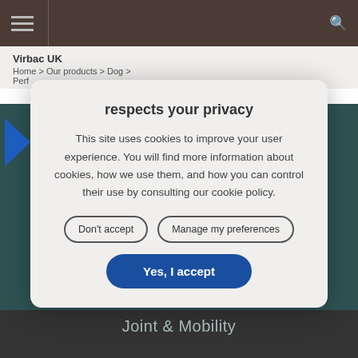Virbac UK
Home > Our products > Dog >
Perf...
respects your privacy
This site uses cookies to improve your user experience. You will find more information about cookies, how we use them, and how you can control their use by consulting our cookie policy.
Don't accept
Manage my preferences
Yes, I accept
Joint & Mobility